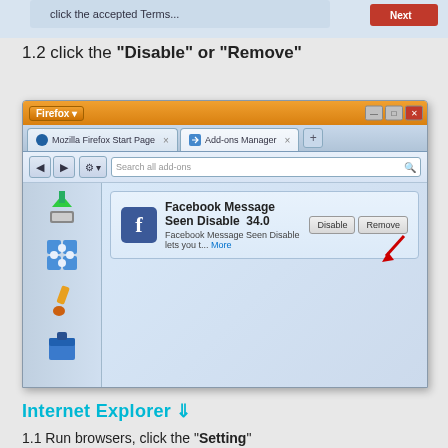[Figure (screenshot): Partial top screenshot of Firefox browser showing cropped content from previous page step]
1.2 click the "Disable" or "Remove"
[Figure (screenshot): Firefox browser window showing the Add-ons Manager with Facebook Message Seen Disable 34.0 extension listed, with Disable and Remove buttons visible and a red arrow pointing to the Remove button]
Internet Explorer ⇓
1.1 Run browsers, click the "Setting"